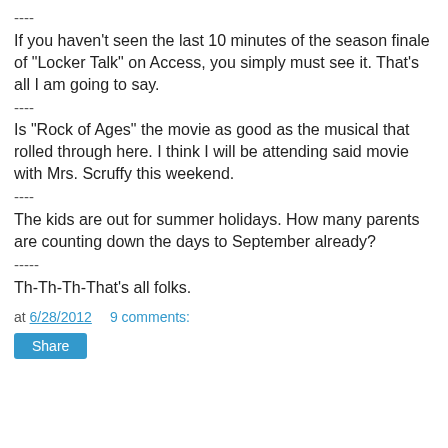----
If you haven't seen the last 10 minutes of the season finale of "Locker Talk" on Access, you simply must see it. That's all I am going to say.
----
Is "Rock of Ages" the movie as good as the musical that rolled through here. I think I will be attending said movie with Mrs. Scruffy this weekend.
----
The kids are out for summer holidays. How many parents are counting down the days to September already?
-----
Th-Th-Th-That's all folks.
at 6/28/2012   9 comments:
Share